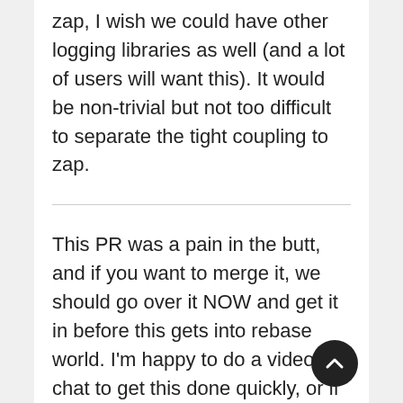zap, I wish we could have other logging libraries as well (and a lot of users will want this). It would be non-trivial but not too difficult to separate the tight coupling to zap.
This PR was a pain in the butt, and if you want to merge it, we should go over it NOW and get it in before this gets into rebase world. I'm happy to do a video chat to get this done quickly, or if someone else wants to